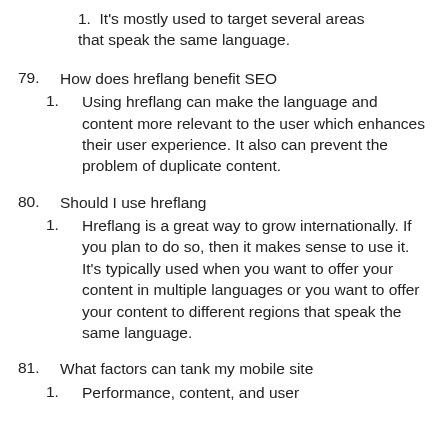1. It's mostly used to target several areas that speak the same language.
79. How does hreflang benefit SEO
1. Using hreflang can make the language and content more relevant to the user which enhances their user experience. It also can prevent the problem of duplicate content.
80. Should I use hreflang
1. Hreflang is a great way to grow internationally. If you plan to do so, then it makes sense to use it. It’s typically used when you want to offer your content in multiple languages or you want to offer your content to different regions that speak the same language.
81. What factors can tank my mobile site
1. Performance, content, and user experience all need to be top notch.